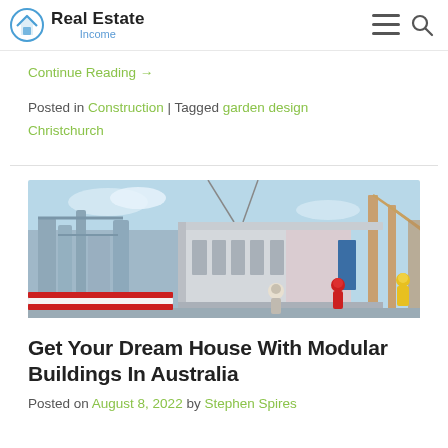Real Estate Income
Continue Reading →
Posted in Construction | Tagged garden design Christchurch
[Figure (photo): Modular building being lifted or assembled at an industrial/construction site. Workers in hard hats and safety gear visible. Steel-framed modular unit with white panels and partial interior visible.]
Get Your Dream House With Modular Buildings In Australia
Posted on August 8, 2022 by Stephen Spires